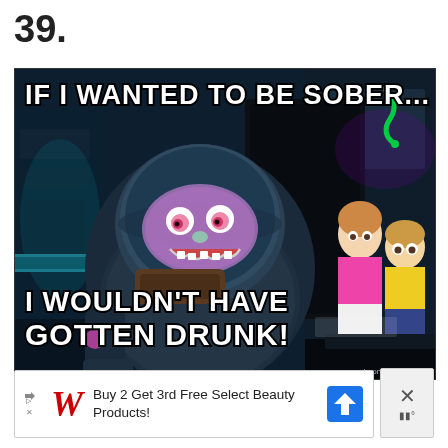39.
[Figure (illustration): Rick and Morty animated meme image. A character in a large robotic space suit with a teal helmet and pink visor is in a sci-fi cockpit. Two characters (Summer and Morty) sit in the background. Top text reads: 'IF I WANTED TO BE SOBER...' Bottom text reads: 'I WOULDN'T HAVE GOTTEN DRUNK!' Watermark says 'made on Imgur'.]
[Figure (illustration): Advertisement banner for Walgreens: 'Buy 2 Get 3rd Free Select Beauty Products!' with Walgreens cursive W logo, a navigation arrow icon, and a close button with X symbol.]